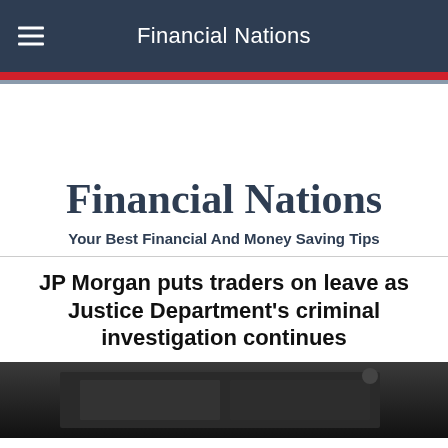Financial Nations
Financial Nations
Your Best Financial And Money Saving Tips
JP Morgan puts traders on leave as Justice Department's criminal investigation continues
[Figure (photo): Dark photo strip at the bottom of the page, appears to show an interior scene]